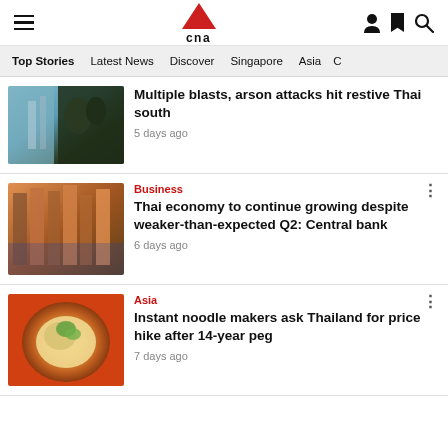[Figure (logo): CNA (Channel NewsAsia) logo with red triangle above 'cna' text]
Top Stories | Latest News | Discover | Singapore | Asia | C
Multiple blasts, arson attacks hit restive Thai south — 5 days ago
Business — Thai economy to continue growing despite weaker-than-expected Q2: Central bank — 6 days ago
Asia — Instant noodle makers ask Thailand for price hike after 14-year peg — 7 days ago